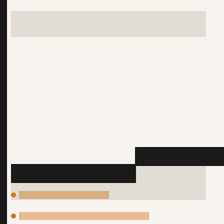[Figure (other): Vertical black bar on left edge of page]
[redacted block 1]
[redacted block 2]
[Figure (other): Black horizontal bar on right side]
[Figure (other): Black horizontal bar on left side]
[redacted orange text item 1]
[redacted orange text item 2]